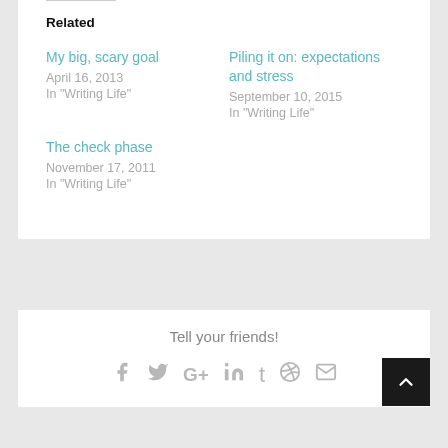Related
My big, scary goal
April 16, 2013
In "Writing Life"
Piling it on: expectations and stress
September 10, 2015
In "Writing Life"
The check phase
November 17, 2011
In "Writing Life"
Tell your friends!